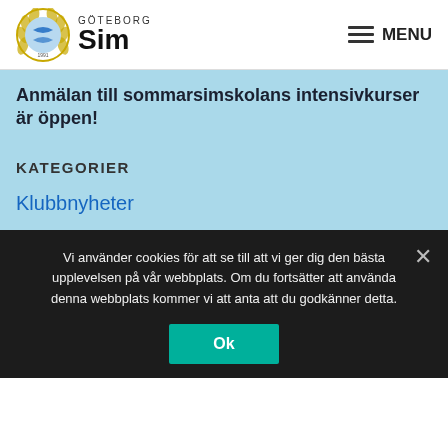Göteborg Sim — MENU
Anmälan till sommarsimskolans intensivkurser är öppen!
KATEGORIER
Klubbnyheter
Simskola
Vi använder cookies för att se till att vi ger dig den bästa upplevelsen på vår webbplats. Om du fortsätter att använda denna webbplats kommer vi att anta att du godkänner detta.